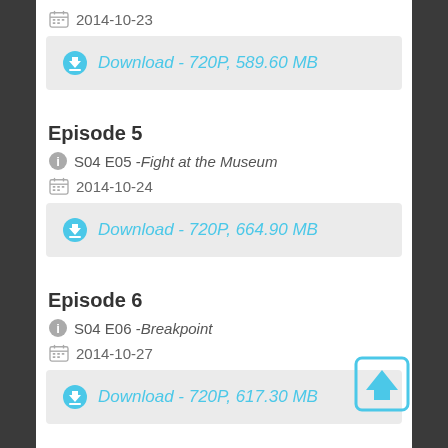2014-10-23
Download - 720P, 589.60 MB
Episode 5
S04 E05 - Fight at the Museum
2014-10-24
Download - 720P, 664.90 MB
Episode 6
S04 E06 - Breakpoint
2014-10-27
Download - 720P, 617.30 MB